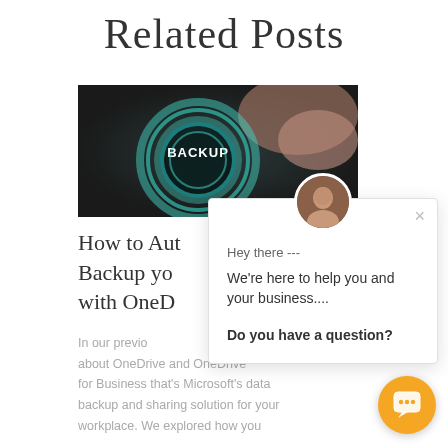Related Posts
[Figure (photo): A glowing teal backup button being pressed by a finger, dark background with teal ring light effect]
How to Auto Backup yo with OneD
In our previo about OneDrive and OneDrive for Business that's Microsoft's data backup and sharing solution for your workplace. We explored how you
[Figure (screenshot): Chat popup overlay with avatar photo of a woman, showing text: Hey there --- We're here to help you and your business.... Do you have a question? With a close X button and orange chat launcher button.]